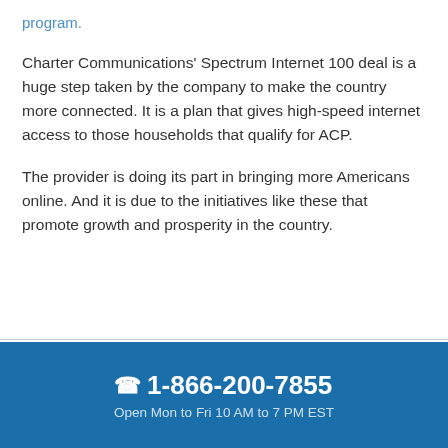program.
Charter Communications' Spectrum Internet 100 deal is a huge step taken by the company to make the country more connected. It is a plan that gives high-speed internet access to those households that qualify for ACP.
The provider is doing its part in bringing more Americans online. And it is due to the initiatives like these that promote growth and prosperity in the country.
☎ 1-866-200-7855
Open Mon to Fri 10 AM to 7 PM EST